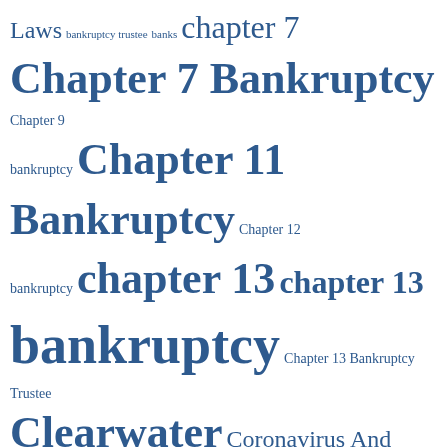[Figure (infographic): Word cloud of legal/bankruptcy-related terms in varying font sizes, all in dark blue color on white background. Larger terms indicate higher frequency/importance: 'Filing For Bankruptcy Florida', 'Weller Legal Group', 'Chapter 7 Bankruptcy', 'Chapter 11 Bankruptcy', 'chapter 13 bankruptcy', 'Clearwater', 'file for bankruptcy', 'Tampa', 'tax', etc.]